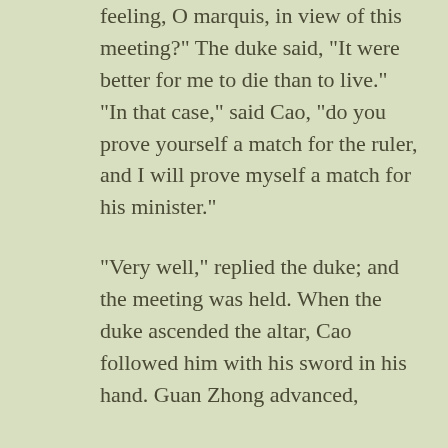feeling, O marquis, in view of this meeting?" The duke said, "It were better for me to die than to live." "In that case," said Cao, "do you prove yourself a match for the ruler, and I will prove myself a match for his minister."

"Very well," replied the duke; and the meeting was held. When the duke ascended the altar, Cao followed him with his sword in his hand. Guan Zhong advanced,